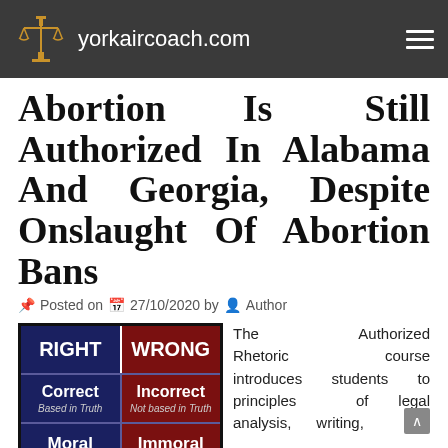yorkaircoach.com
Abortion Is Still Authorized In Alabama And Georgia, Despite Onslaught Of Abortion Bans
Posted on 27/10/2020 by Author
[Figure (table-as-image): RIGHT vs WRONG table with two columns: RIGHT (blue background) and WRONG (dark red background). Rows: Correct / Incorrect (Based in Truth / Not based in Truth), Moral / Immoral]
The Authorized Rhetoric course introduces students to principles of legal analysis, writing,